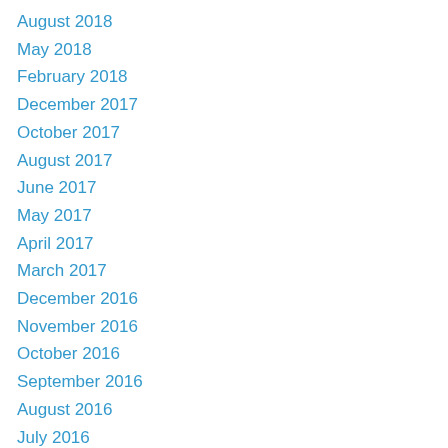August 2018
May 2018
February 2018
December 2017
October 2017
August 2017
June 2017
May 2017
April 2017
March 2017
December 2016
November 2016
October 2016
September 2016
August 2016
July 2016
June 2016
May 2016
April 2016
March 2016